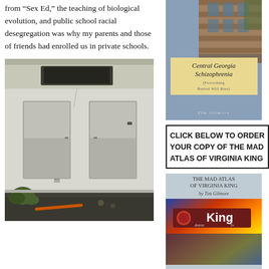from “Sex Ed,” the teaching of biological evolution, and public school racial desegregation was why my parents and those of friends had enrolled us in private schools.
[Figure (photo): Interior of an abandoned building showing two white doors, a damaged ceiling with a hole, debris and overgrown vegetation on the floor.]
[Figure (photo): Book cover: Central Georgia Schizophrenia (Everything Buried Will Rise) by Tim Gilmore. Gray-blue cover with brick building photograph and yellow title box.]
CLICK BELOW TO ORDER YOUR COPY OF THE MAD ATLAS OF VIRGINIA KING
[Figure (photo): Book cover: The Mad Atlas of Virginia King by Tim Gilmore. Features a street sign reading King, colorful painted background, text The Full Color Version, with Hurley Winkler and Kiley Secrest.]